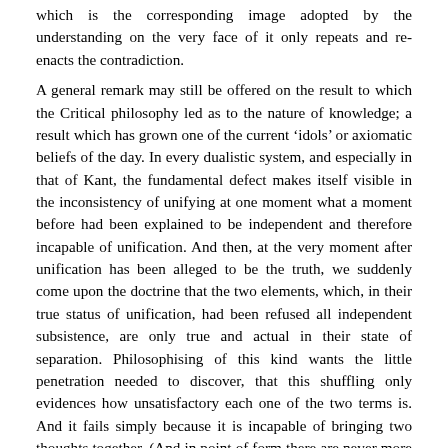which is the corresponding image adopted by the understanding on the very face of it only repeats and re-enacts the contradiction. A general remark may still be offered on the result to which the Critical philosophy led as to the nature of knowledge; a result which has grown one of the current ‘idols’ or axiomatic beliefs of the day. In every dualistic system, and especially in that of Kant, the fundamental defect makes itself visible in the inconsistency of unifying at one moment what a moment before had been explained to be independent and therefore incapable of unification. And then, at the very moment after unification has been alleged to be the truth, we suddenly come upon the doctrine that the two elements, which, in their true status of unification, had been refused all independent subsistence, are only true and actual in their state of separation. Philosophising of this kind wants the little penetration needed to discover, that this shuffling only evidences how unsatisfactory each one of the two terms is. And it fails simply because it is incapable of bringing two thoughts together. (And in point of form there are never more than two.) It argues an utter want of consistency to say, on the one hand, that the understanding only knows phenomena, and, on the other, assert the absolute character of this knowledge, by such statements as ‘Cognition can go no further’; ‘Here is the natural and absolute limit of human knowledge’. But to credit knowledge